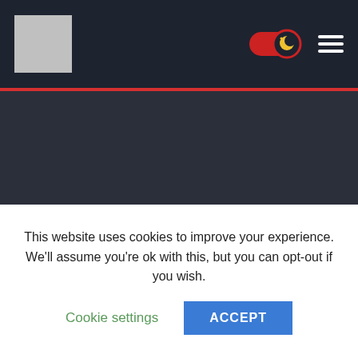Website header with logo and dark mode toggle and hamburger menu
LEAVE A REPLY
Your email address will not be published. Required fields are marked *
Comment *
This website uses cookies to improve your experience. We'll assume you're ok with this, but you can opt-out if you wish.
Cookie settings
ACCEPT